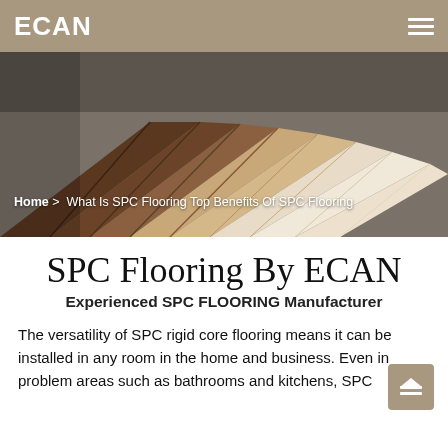ECAN
[Figure (photo): Fan of SPC flooring planks in various wood colors and finishes, spread out showing different textures from dark brown to light natural wood tones.]
Home > What Is SPC Flooring Top Benefits Of SPC Flooring
SPC Flooring By ECAN
Experienced SPC FLOORING Manufacturer
The versatility of SPC rigid core flooring means it can be installed in any room in the home and business. Even in problem areas such as bathrooms and kitchens, SPC